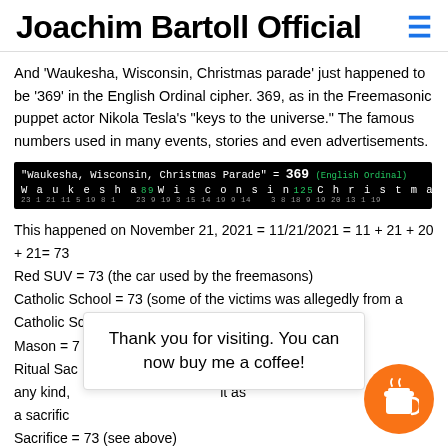Joachim Bartoll Official
And 'Waukesha, Wisconsin, Christmas parade' just happened to be '369' in the English Ordinal cipher. 369, as in the Freemasonic puppet actor Nikola Tesla's "keys to the universe." The famous numbers used in many events, stories and even advertisements.
[Figure (infographic): Black background cipher table showing 'Waukesha, Wisconsin, Christmas Parade' = 369 in English Ordinal. Letters with their ordinal values shown below: Waukesha=89, Wisconsin=125, Christmas=110.]
This happened on November 21, 2021 = 11/21/2021 = 11 + 21 + 20 + 21= 73
Red SUV = 73 (the car used by the freemasons)
Catholic School = 73 (some of the victims was allegedly from a Catholic School)
Mason = 73
Ritual Sacrifice = 73 (not a regular attack of any kind, consider it as a sacrifice)
Sacrifice = 73 (see above)
Thank you for visiting. You can now buy me a coffee!